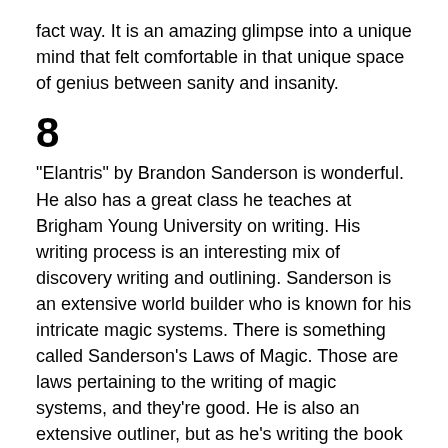fact way. It is an amazing glimpse into a unique mind that felt comfortable in that unique space of genius between sanity and insanity.
8
"Elantris" by Brandon Sanderson is wonderful. He also has a great class he teaches at Brigham Young University on writing. His writing process is an interesting mix of discovery writing and outlining. Sanderson is an extensive world builder who is known for his intricate magic systems. There is something called Sanderson's Laws of Magic. Those are laws pertaining to the writing of magic systems, and they're good. He is also an extensive outliner, but as he's writing the book his outline will keep changing and adjusting. That's a bit like we saw with Tolkien. He also discovery writes his characters. This means that he writes pieces about them, stories, until they become real to him. He doesn't have a plan when he starts that. He's also talked about a friend of his that has his characters give a monologue where they lay out their beliefs and viewpoints. Sanderson doesn't do that, but it seems somewhat similar.